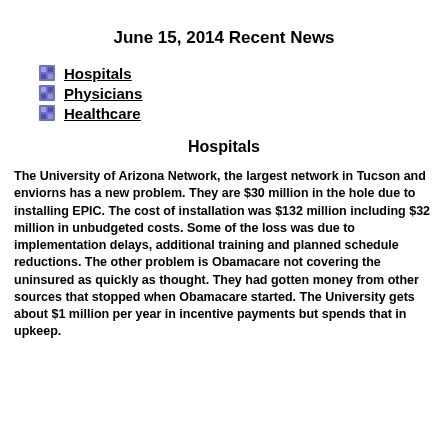June 15, 2014 Recent News
Hospitals
Physicians
Healthcare
Hospitals
The University of Arizona Network, the largest network in Tucson and enviorns has a new problem. They are $30 million in the hole due to installing EPIC. The cost of installation was $132 million including $32 million in unbudgeted costs. Some of the loss was due to implementation delays, additional training and planned schedule reductions. The other problem is Obamacare not covering the uninsured as quickly as thought. They had gotten money from other sources that stopped when Obamacare started. The University gets about $1 million per year in incentive payments but spends that in upkeep.